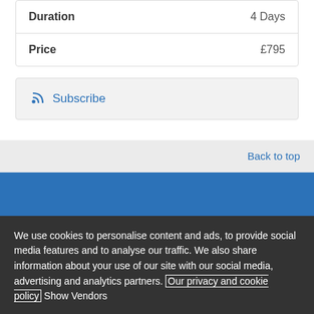| Field | Value |
| --- | --- |
| Duration | 4 Days |
| Price | £795 |
Subscribe
Back to top
We use cookies to personalise content and ads, to provide social media features and to analyse our traffic. We also share information about your use of our site with our social media, advertising and analytics partners. Our privacy and cookie policy Show Vendors